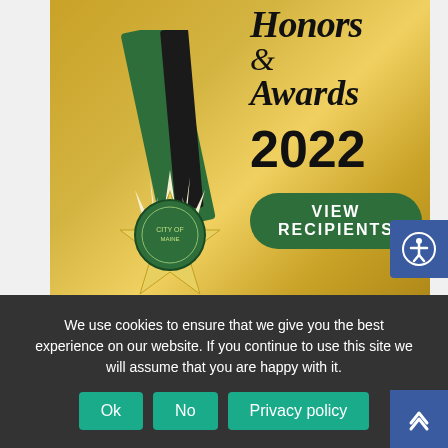[Figure (photo): Honors and Awards 2022 banner image showing a gold and green medallion/star with ribbons, script text reading 'Honors & Awards' in cursive, '2022' in bold, and a green 'VIEW RECIPIENTS' button]
25DAYSOFCHRISTMAS
23rd Day of Christmas- Recycling at Christmas
We use cookies to ensure that we give you the best experience on our website. If you continue to use this site we will assume that you are happy with it.